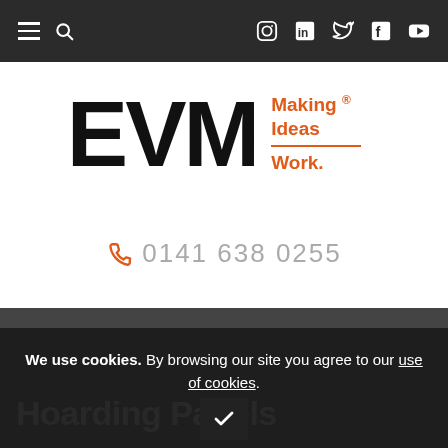EVM navigation bar with hamburger menu, search, and social icons: Instagram, LinkedIn, Twitter, Facebook, YouTube
[Figure (logo): EVM logo — large bold black letters EVM with orange tagline 'Making ® Ideas Work.']
0141 638 0255
EVM › Portfolio Items › Hoarding Panels
◄ PREVIOUS PRODUCT
NEXT PRODUCT ►
Hoarding Panels
We use cookies. By browsing our site you agree to our use of cookies.